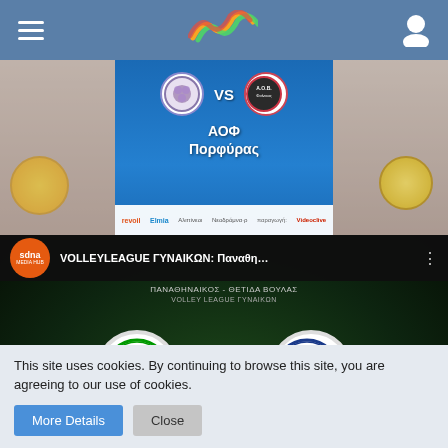Navigation bar with hamburger menu, logo, and user icon
[Figure (screenshot): Sports banner showing volleyball match: ΑΟΦ Πορφύρας with team logos and VS, blue background with sponsor logos including revoil, Elmia, and Videoclun, production credit]
[Figure (screenshot): YouTube video thumbnail: VOLLEYLEAGUE ΓΥΝΑΙΚΩΝ: Παναθη... - ΠΑΝΑΘΗΝΑΙΚΟΣ - ΘΕΤΙΔΑ ΒΟΥΛΑΣ VOLLEY LEAGUE ΓΥΝΑΙΚΩΝ, showing Panathinaikos and ΑΣΠΕΘ team logos with YouTube play button, SDNA Media Hub orange logo]
This site uses cookies. By continuing to browse this site, you are agreeing to our use of cookies.
More Details
Close